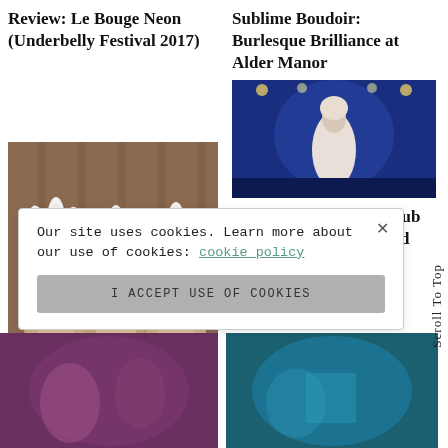Review: Le Bouge Neon (Underbelly Festival 2017)
Sublime Boudoir: Burlesque Brilliance at Alder Manor
[Figure (photo): Three burlesque performers in white feathered headdresses and sparkly costumes posing together indoors]
[Figure (photo): Performer in white gown on a blue-lit stage]
REVIEW: Double R Club (London Wonderground 2014)
Our site uses cookies. Learn more about our use of cookies: cookie policy
I ACCEPT USE OF COOKIES
[Figure (photo): Bottom left partially visible photo with purple tones]
[Figure (photo): Bottom right partially visible photo with teal/blue tones]